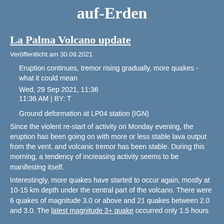auf-Erden
La Palma Volcano update
Veröffentlicht am 30.09.2021
Eruption continues, tremor rising gradually, more quakes - what it could mean
Wed, 29 Sep 2021, 11:36
11:36 AM | BY: T
Ground deformation at LP04 station (IGN)
Since the violent re-start of activity on Monday evening, the eruption has been going on with more or less stable lava output from the vent, and volcanic tremor has been stable. During this morning, a tendency of increasing activity seems to be manifesting itself.
Interestingly, more quakes have started to occur again, mostly at 10-15 km depth under the central part of the volcano. There were 6 quakes of magnitude 3.0 or above and 21 quakes between 2.0 and 3.0. The latest magnitude 3+ quake occurred only 1.5 hours